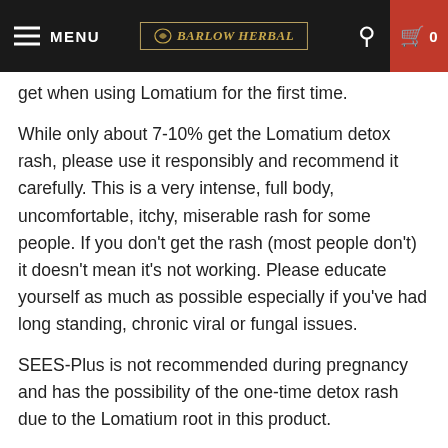MENU | BARLOW HERBAL | 0
get when using Lomatium for the first time.
While only about 7-10% get the Lomatium detox rash, please use it responsibly and recommend it carefully.  This is a very intense, full body, uncomfortable, itchy, miserable rash for some people.  If you don't get the rash (most people don't)  it doesn't mean it's not working.  Please educate yourself as much as possible especially if you've had long standing, chronic viral or fungal issues.
SEES-Plus is not recommended during pregnancy and has the possibility of the one-time detox rash due to  the Lomatium root in this product.
*This product has not been evaluated by the